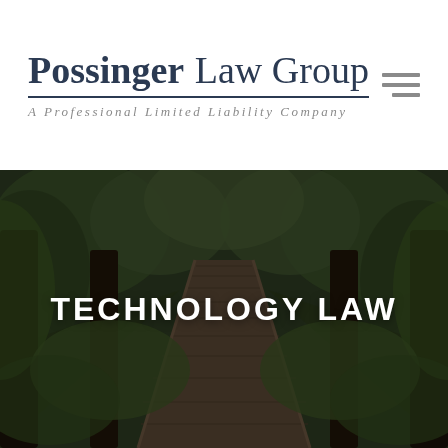Possinger Law Group
A Professional Limited Liability Company
[Figure (photo): A wooden boardwalk path through a dark green forested area, viewed in perspective leading away into the trees. Overlaid with bold white text reading TECHNOLOGY LAW.]
TECHNOLOGY LAW